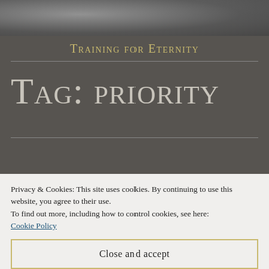[Figure (photo): Grayscale photo strip at top of page, partially visible, showing a dark textured scene]
Training for Eternity
Tag: priority
Privacy & Cookies: This site uses cookies. By continuing to use this website, you agree to their use.
To find out more, including how to control cookies, see here:
Cookie Policy
Close and accept